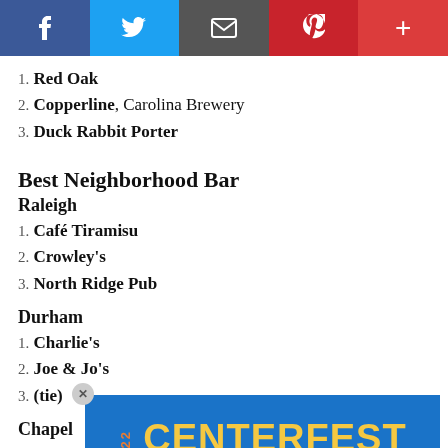[Figure (other): Social media sharing buttons bar: Facebook (blue), Twitter (light blue), Email (dark gray), Pinterest (red), Plus/More (red)]
1. Red Oak
2. Copperline, Carolina Brewery
3. Duck Rabbit Porter
Best Neighborhood Bar
Raleigh
1. Café Tiramisu
2. Crowley's
3. North Ridge Pub
Durham
1. Charlie's
2. Joe & Jo's
3. (tie)
Chapel
1. Town
2. The
[Figure (illustration): 2022 Centerfest Arts Festival advertisement banner with blue background, yellow CENTERFEST text, light blue ARTS·FESTIVAL text, and orange 2022 vertical text]